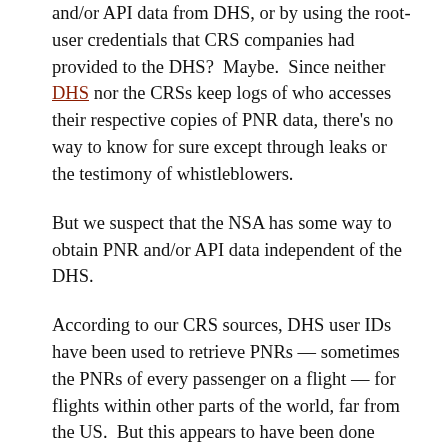and/or API data from DHS, or by using the root-user credentials that CRS companies had provided to the DHS? Maybe. Since neither DHS nor the CRSs keep logs of who accesses their respective copies of PNR data, there's no way to know for sure except through leaks or the testimony of whistleblowers.
But we suspect that the NSA has some way to obtain PNR and/or API data independent of the DHS.
According to our CRS sources, DHS user IDs have been used to retrieve PNRs — sometimes the PNRs of every passenger on a flight — for flights within other parts of the world, far from the US. But this appears to have been done only on a case-by-case basis, for specific flights. Retrieving all worldwide PNRs through the sort of access available with the CRS user credentials that we believe to have been made available to DHS, even with root user privileges, could place costly and problematic burdens on CRS server resources.
The NSA may have gotten copies of the API and/or